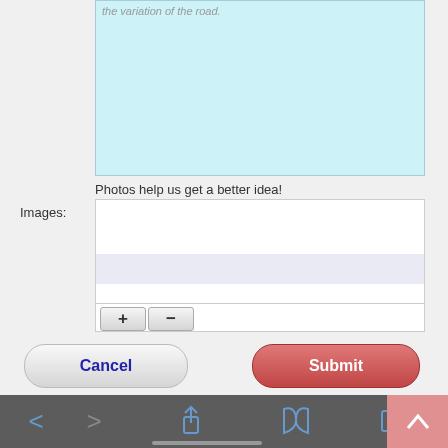[Figure (screenshot): Light blue textarea input field with placeholder text partially visible at top]
Photos help us get a better idea!
Images:
[Figure (screenshot): Images input area with white and light purple rows, plus (+) and minus (-) buttons at bottom]
[Figure (screenshot): Cancel button (rounded, gray with dark blue bold text) and Submit button (rounded, red/pink with white bold text)]
[Figure (screenshot): Dark gray browser toolbar with back, forward, share, bookmarks, and tabs icons in blue; home indicator bar; red scroll-to-top button at bottom right]